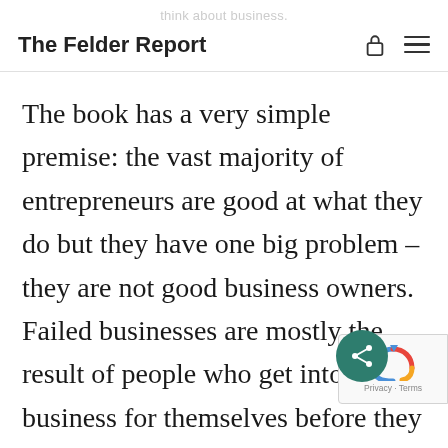The Felder Report
The book has a very simple premise: the vast majority of entrepreneurs are good at what they do but they have one big problem – they are not good business owners. Failed businesses are mostly the result of people who get into business for themselves before they realize that the success of a business is 90% due to their ability to run a business and